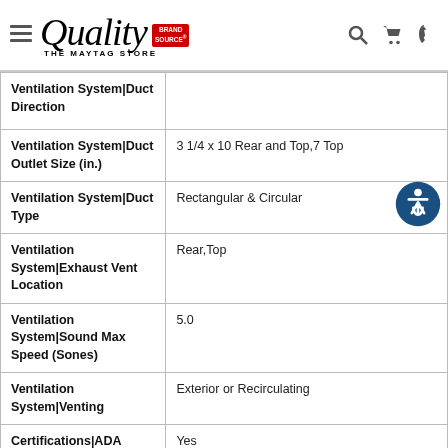Quality The Maytag Store — Brand Source
| Property | Value |
| --- | --- |
| Ventilation System|Duct Direction |  |
| Ventilation System|Duct Outlet Size (in.) | 3 1/4 x 10 Rear and Top,7 Top |
| Ventilation System|Duct Type | Rectangular & Circular |
| Ventilation System|Exhaust Vent Location | Rear,Top |
| Ventilation System|Sound Max Speed (Sones) | 5.0 |
| Ventilation System|Venting | Exterior or Recirculating |
| Certifications|ADA Compliant | Yes |